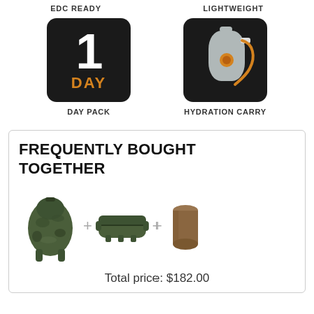EDC READY
LIGHTWEIGHT
[Figure (illustration): Black rounded square icon with a large white '1' and orange 'DAY' text below]
DAY PACK
[Figure (illustration): Black rounded square icon with a gray hydration bladder and orange tube]
HYDRATION CARRY
FREQUENTLY BOUGHT TOGETHER
[Figure (photo): Camo backpack product photo]
[Figure (photo): Green pouch/organizer product photo]
[Figure (photo): Brown cylindrical bag product photo]
Total price: $182.00